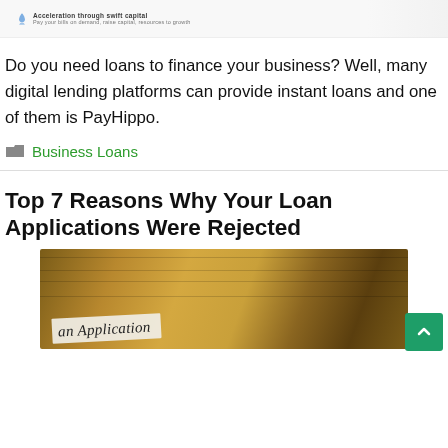[Figure (screenshot): Top banner/header strip with a rocket icon logo and small tagline text, partially visible at top of page]
Do you need loans to finance your business? Well, many digital lending platforms can provide instant loans and one of them is PayHippo.
Business Loans
Top 7 Reasons Why Your Loan Applications Were Rejected
[Figure (photo): Photo of a loan application form on a wooden table, partially visible with 'an Application' text visible and a rubber stamp]